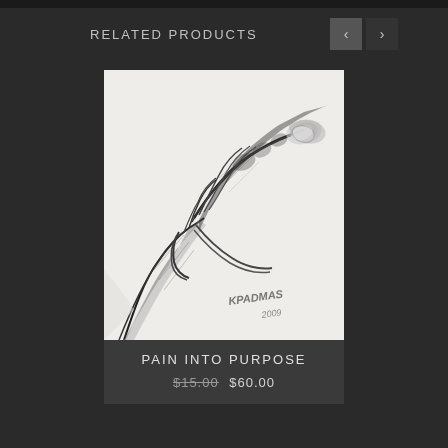RELATED PRODUCTS
[Figure (illustration): Pencil sketch drawing of a human hand reaching forward with fingers curled, rendered in detailed charcoal/graphite style on white paper, signed 'KPADMAS 2009' in the lower right corner]
PAIN INTO PURPOSE
$15.00  $60.00